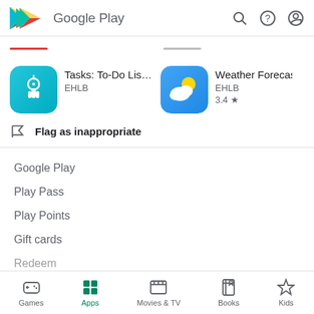Google Play
[Figure (screenshot): App listing: Tasks: To-Do List & — EHLB icon with hand/touch graphic on teal background]
[Figure (screenshot): App listing: Weather Forecast — EHLB icon with cloud and sun on blue background, rating 3.4 stars]
Flag as inappropriate
Google Play
Play Pass
Play Points
Gift cards
Redeem
Games  Apps  Movies & TV  Books  Kids